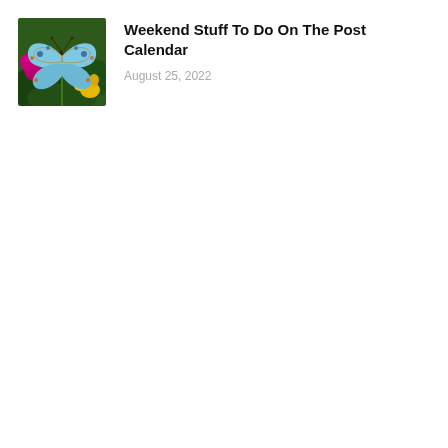[Figure (photo): A blue butterfly with patterned wings resting among colorful flowers including purple, yellow, and green foliage]
Weekend Stuff To Do On The Post Calendar
August 25, 2022